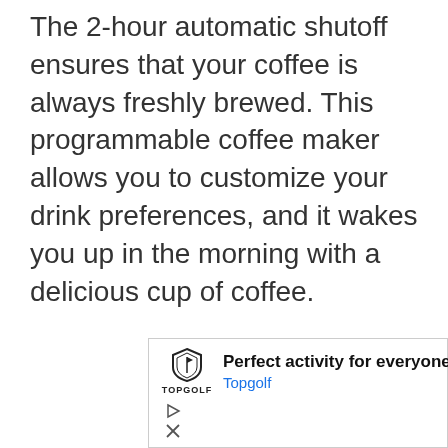The 2-hour automatic shutoff ensures that your coffee is always freshly brewed. This programmable coffee maker allows you to customize your drink preferences, and it wakes you up in the morning with a delicious cup of coffee.
[Figure (other): Advertisement for Topgolf: logo with shield icon and TOPGOLF text, headline 'Perfect activity for everyone', subtext 'Topgolf' in blue, blue diamond-shaped navigation arrow icon on right, play and close control icons at bottom left.]